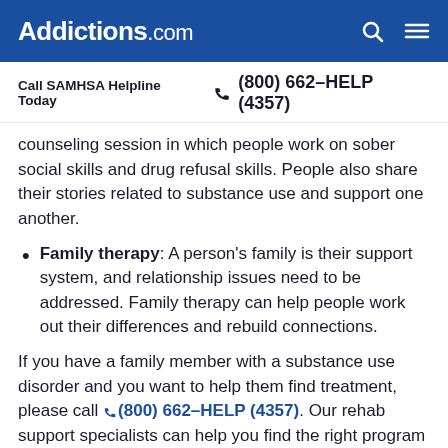Addictions.com
Call SAMHSA Helpline Today  (800) 662-HELP (4357)
counseling session in which people work on sober social skills and drug refusal skills. People also share their stories related to substance use and support one another.
Family therapy: A person's family is their support system, and relationship issues need to be addressed. Family therapy can help people work out their differences and rebuild connections.
If you have a family member with a substance use disorder and you want to help them find treatment, please call (800) 662-HELP (4357). Our rehab support specialists can help you find the right program for them.